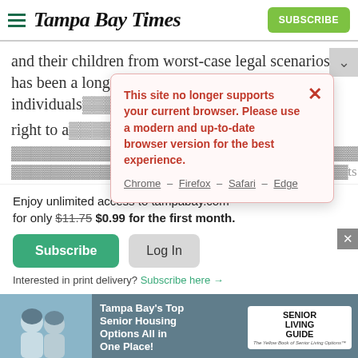Tampa Bay Times
and their children from worst-case legal scenarios has been a long-standing concern. ¶ Although gay individuals the right to a...children...2012...own
[Figure (screenshot): Browser compatibility warning modal with red text: 'This site no longer supports your current browser. Please use a modern and up-to-date browser version for the best experience.' with links: Chrome – Firefox – Safari – Edge]
Enjoy unlimited access to tampabay.com for only $11.75 $0.99 for the first month.
Subscribe  Log In
Interested in print delivery? Subscribe here →
[Figure (infographic): Advertisement banner: Tampa Bay's Top Senior Housing Options All in One Place! Senior Living Guide]